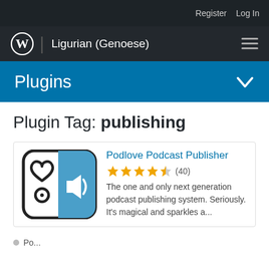Register   Log In
WordPress | Ligurian (Genoese)
Plugins
Plugin Tag: publishing
[Figure (logo): Podlove Podcast Publisher plugin icon showing a heart and megaphone on a smartphone outline with blue background]
Podlove Podcast Publisher
★★★★½ (40)
The one and only next generation podcast publishing system. Seriously. It's magical and sparkles a...